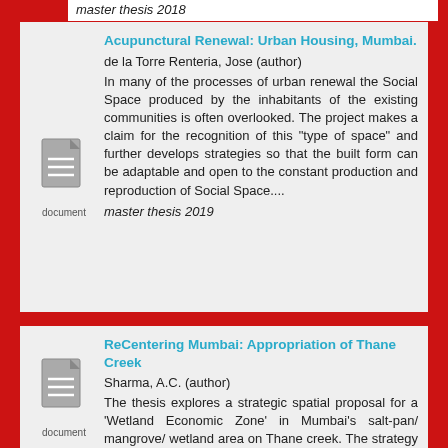master thesis 2018
Acupunctural Renewal: Urban Housing, Mumbai.
de la Torre Renteria, Jose (author)
In many of the processes of urban renewal the Social Space produced by the inhabitants of the existing communities is often overlooked. The project makes a claim for the recognition of this "type of space" and further develops strategies so that the built form can be adaptable and open to the constant production and reproduction of Social Space....
master thesis 2019
[Figure (illustration): Document icon with lines representing text, labeled 'document']
ReCentering Mumbai: Appropriation of Thane Creek
Sharma, A.C. (author)
The thesis explores a strategic spatial proposal for a 'Wetland Economic Zone' in Mumbai's salt-pan/ mangrove/ wetland area on Thane creek. The strategy questions the city's blanket zoning attitude, and integrates primary sector economies like food production in sustainable practices but
[Figure (illustration): Document icon with lines representing text, labeled 'document']